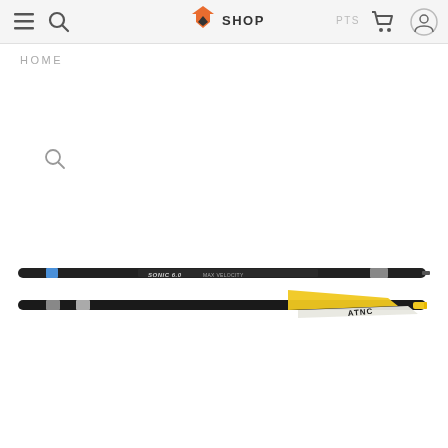SHOP
HOME
[Figure (photo): Two crossbow carbon arrows (SONIC 6.0 MAX VELOCITY) laid horizontally. The top arrow shaft is dark/black with blue and white label markings reading 'SONIC 6.0 MAX VELOCITY'. The bottom arrow shows a yellow vane/fletching on the right side and a white vane with 'ATNC' text visible.]